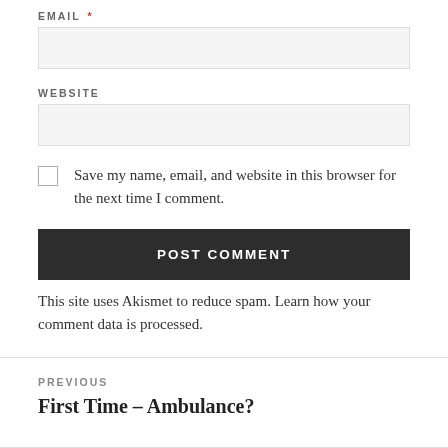EMAIL *
WEBSITE
Save my name, email, and website in this browser for the next time I comment.
POST COMMENT
This site uses Akismet to reduce spam. Learn how your comment data is processed.
PREVIOUS
First Time – Ambulance?